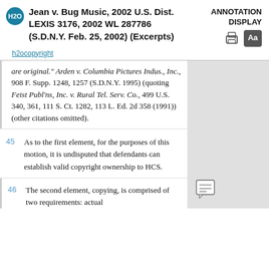Jean v. Bug Music, 2002 U.S. Dist. LEXIS 3176, 2002 WL 287786 (S.D.N.Y. Feb. 25, 2002) (Excerpts)
h2ocopyright
are original." Arden v. Columbia Pictures Indus., Inc., 908 F. Supp. 1248, 1257 (S.D.N.Y. 1995) (quoting Feist Publ'ns, Inc. v. Rural Tel. Serv. Co., 499 U.S. 340, 361, 111 S. Ct. 1282, 113 L. Ed. 2d 358 (1991)) (other citations omitted).
45  As to the first element, for the purposes of this motion, it is undisputed that defendants can establish valid copyright ownership to HCS.
46  The second element, copying, is comprised of two requirements: actual